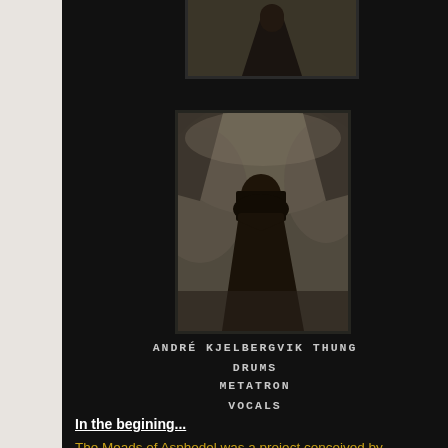[Figure (photo): Partial photo at top, dark silhouette figure, cut off]
[Figure (photo): Man with long hair standing in a cave/rocky environment, dark contrast image]
ANDRÉ KJELBERGVIK THUNG
DRUMS
METATRON
VOCALS
In the begining...
The Meads of Asphodel was a project conceived by Metatron in 1998 who envisaged a unique myriad of colliding musical styles tethered to a Black Metal spine. A collaboration with life...